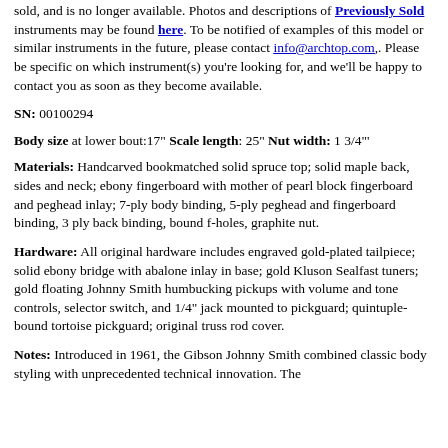sold, and is no longer available. Photos and descriptions of Previously Sold instruments may be found here. To be notified of examples of this model or similar instruments in the future, please contact info@archtop.com,. Please be specific on which instrument(s) you're looking for, and we'll be happy to contact you as soon as they become available.
SN: 00100294
Body size at lower bout:17" Scale length: 25" Nut width: 1 3/4"
Materials: Handcarved bookmatched solid spruce top; solid maple back, sides and neck; ebony fingerboard with mother of pearl block fingerboard and peghead inlay; 7-ply body binding, 5-ply peghead and fingerboard binding, 3 ply back binding, bound f-holes, graphite nut.
Hardware: All original hardware includes engraved gold-plated tailpiece; solid ebony bridge with abalone inlay in base; gold Kluson Sealfast tuners; gold floating Johnny Smith humbucking pickups with volume and tone controls, selector switch, and 1/4" jack mounted to pickguard; quintuple-bound tortoise pickguard; original truss rod cover.
Notes: Introduced in 1961, the Gibson Johnny Smith combined classic body styling with unprecedented technical innovation. The